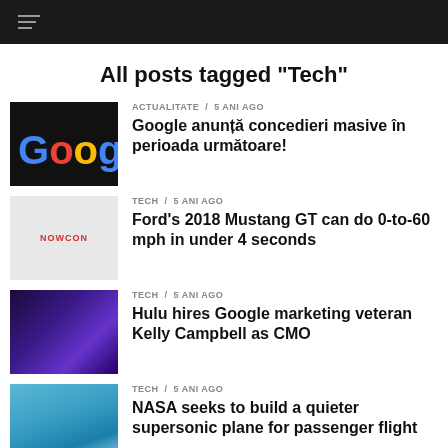Navigation bar with hamburger menu
All posts tagged "Tech"
ACTUALITATE / 5 ani ago — Google anunță concedieri masive în perioada următoare!
TECH / 5 ani ago — Ford's 2018 Mustang GT can do 0-to-60 mph in under 4 seconds
TECH / 5 ani ago — Hulu hires Google marketing veteran Kelly Campbell as CMO
TECH / 5 ani ago — NASA seeks to build a quieter supersonic plane for passenger flight